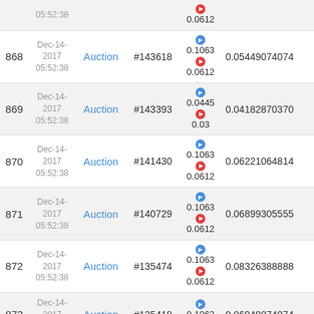| # | Date | Type | ID | Price | Value |
| --- | --- | --- | --- | --- | --- |
|  | 05:52:38 |  |  | 0.0612 |  |
| 868 | Dec-14-2017 05:52:38 | Auction | #143618 | 0.1063 / 0.0612 | 0.05449074074 |
| 869 | Dec-14-2017 05:52:38 | Auction | #143393 | 0.0445 / 0.03 | 0.04182870370 |
| 870 | Dec-14-2017 05:52:38 | Auction | #141430 | 0.1063 / 0.0612 | 0.06221064814 |
| 871 | Dec-14-2017 05:52:38 | Auction | #140729 | 0.1063 / 0.0612 | 0.06899305555 |
| 872 | Dec-14-2017 05:52:38 | Auction | #135474 | 0.1063 / 0.0612 | 0.08326388888 |
| 873 | Dec-14-2017 05:52:38 | Auction | #135418 | 0.1063 / 0.0612 | 0.06949074074 |